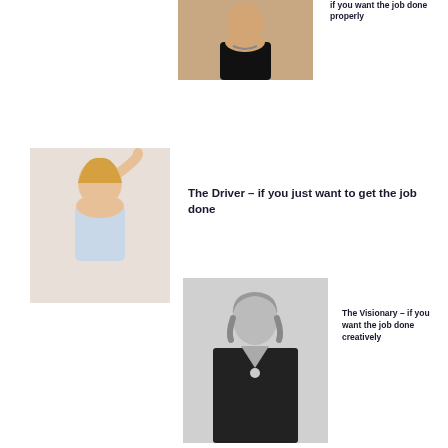[Figure (photo): Woman in black strapless top with necklace, photographed from shoulders up, color photo]
if you want the job done properly
[Figure (photo): Woman in light blue crop top with arm raised, smiling, color photo]
The Driver – if you just want to get the job done
[Figure (photo): Woman with short curly blonde hair in black dress, black and white photo]
The Visionary – if you want the job done creatively